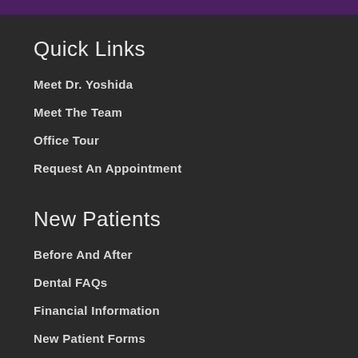Quick Links
Meet Dr. Yoshida
Meet The Team
Office Tour
Request An Appointment
New Patients
Before And After
Dental FAQs
Financial Information
New Patient Forms
Patient Portal